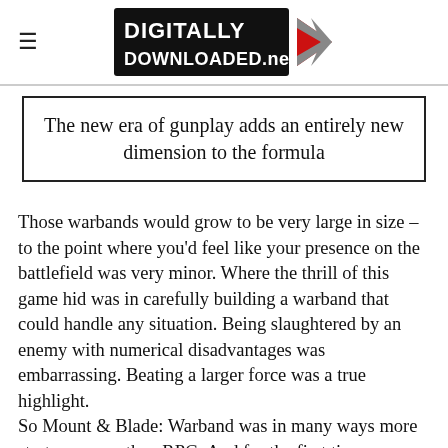DIGITALLY DOWNLOADED.net
The new era of gunplay adds an entirely new dimension to the formula
Those warbands would grow to be very large in size – to the point where you'd feel like your presence on the battlefield was very minor. Where the thrill of this game hid was in carefully building a warband that could handle any situation. Being slaughtered by an enemy with numerical disadvantages was embarrassing. Beating a larger force was a true highlight.
So Mount & Blade: Warband was in many ways more strategy game than RPG. And for the first time you play the game, that sandbox impression is increased by the ability to choose from a wide range of diff